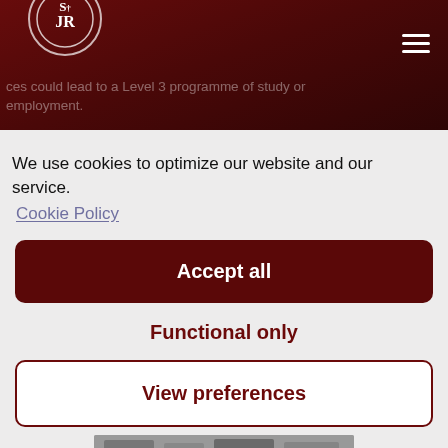SJR logo and navigation header with dark red background
...ces could lead to a Level 3 programme of study or employment.
We use cookies to optimize our website and our service.
Cookie Policy
Accept all
Functional only
View preferences
[Figure (photo): Black and white photo strip at bottom of page]